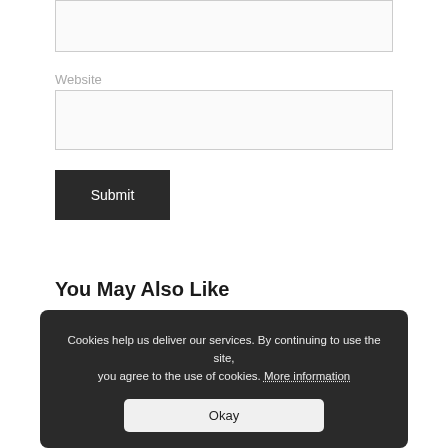[Figure (screenshot): Top portion of a website comment form showing an empty input box (partially visible at top)]
Website
[Figure (screenshot): Website URL input field (empty text box)]
[Figure (screenshot): Submit button — black rectangle with white text 'Submit']
You May Also Like
[Figure (screenshot): Related article card with number '01' and partially visible title about OTC Markets, dark background with image thumbnail on right]
Cookies help us deliver our services. By continuing to use the site, you agree to the use of cookies. More information
[Figure (screenshot): Okay button in cookie consent overlay]